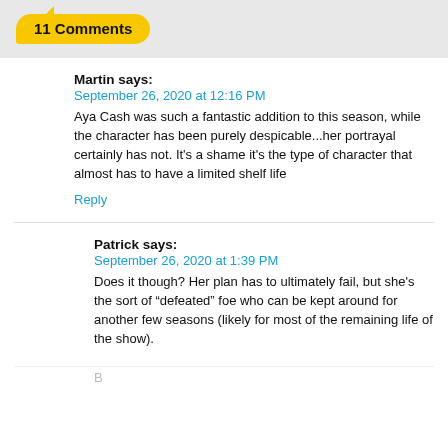11 Comments
Martin says:
September 26, 2020 at 12:16 PM
Aya Cash was such a fantastic addition to this season, while the character has been purely despicable...her portrayal certainly has not. It's a shame it's the type of character that almost has to have a limited shelf life
Reply
Patrick says:
September 26, 2020 at 1:39 PM
Does it though? Her plan has to ultimately fail, but she's the sort of “defeated” foe who can be kept around for another few seasons (likely for most of the remaining life of the show).